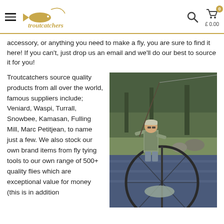troutcatchers — £ 0.00
accessory, or anything you need to make a fly, you are sure to find it here! If you can't, just drop us an email and we'll do our best to source it for you!
Troutcatchers source quality products from all over the world, famous suppliers include; Veniard, Waspi, Turrall, Snowbee, Kamasan, Fulling Mill, Marc Petitjean, to name just a few. We also stock our own brand items from fly tying tools to our own range of 500+ quality flies which are exceptional value for money (this is in addition
[Figure (photo): A fisherman standing at a stream holding a fishing rod with a fish in a large landing net in the foreground, surrounded by trees and greenery.]